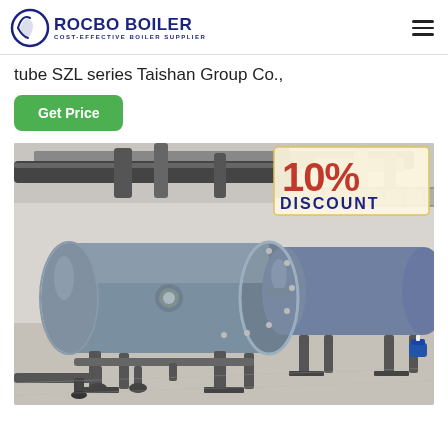ROCBO BOILER - COST-EFFECTIVE BOILER SUPPLIER
tube SZL series Taishan Group Co.,
Get Price
[Figure (photo): Industrial boiler room showing two large horizontal cylindrical blue-grey boilers with pipes, valves, and fittings in an industrial facility. A '10% DISCOUNT' badge is overlaid in the top-right corner of the image.]